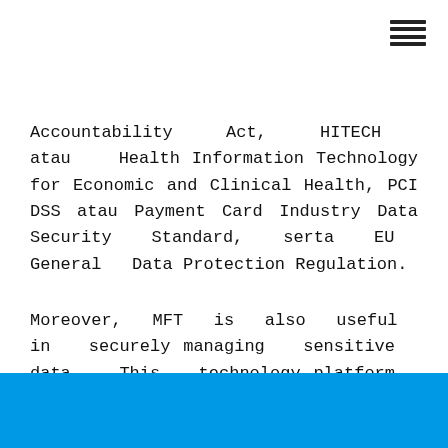Accountability Act, HITECH atau Health Information Technology for Economic and Clinical Health, PCI DSS atau Payment Card Industry Data Security Standard, serta EU General Data Protection Regulation.
Moreover, MFT is also useful in securely managing sensitive data. This technology platform is also helpful for increasing data privacy. This includes data of patients, employees, ownership, and credit card.